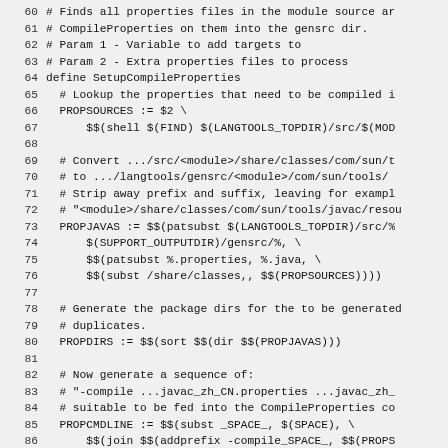[Figure (screenshot): Source code listing showing lines 60-89 of a Makefile or build script (SetupCompileProperties macro). The code handles finding and compiling properties files into Java source files in the gensrc directory. Lines are displayed with line numbers on the left on a light gray background using monospace font.]